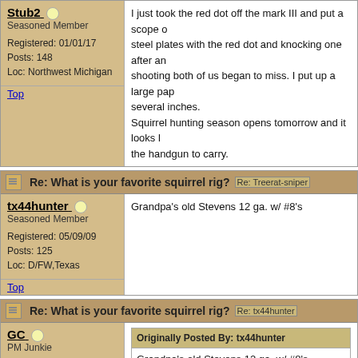Post block 1 - Stub2: I just took the red dot off the mark III and put a scope on it. We was shooting steel plates with the red dot and knocking one after another but after a bunch of shooting both of us began to miss. I put up a large paper target and was off several inches. Squirrel hunting season opens tomorrow and it looks like I will be using the handgun to carry.
Re: What is your favorite squirrel rig? [Re: Treerat-sniper]
tx44hunter - Grandpa's old Stevens 12 ga. w/ #8's
Re: What is your favorite squirrel rig? [Re: tx44hunter]
GC - Originally Posted By: tx44hunter - Grandpa's old Stevens 12 ga. w/ #8's
#8's for squirrels? May I ask why?
Every normal man must be tempted, at times, to spit on his hands, hoist the black flag, and begin slitting throats.